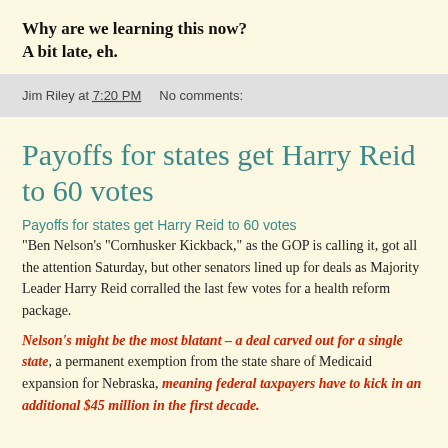Why are we learning this now?
A bit late, eh.
Jim Riley at 7:20 PM    No comments:
Payoffs for states get Harry Reid to 60 votes
Payoffs for states get Harry Reid to 60 votes
"Ben Nelson’s “Cornhusker Kickback,” as the GOP is calling it, got all the attention Saturday, but other senators lined up for deals as Majority Leader Harry Reid corralled the last few votes for a health reform package.
Nelson’s might be the most blatant – a deal carved out for a single state, a permanent exemption from the state share of Medicaid expansion for Nebraska, meaning federal taxpayers have to kick in an additional $45 million in the first decade.